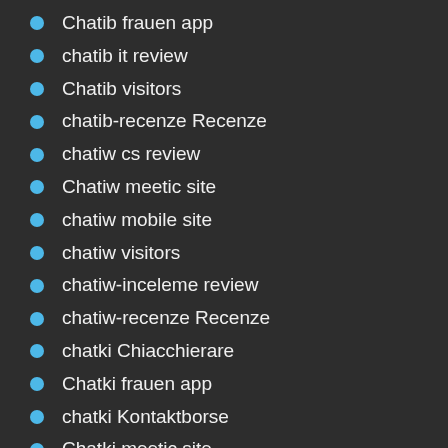Chatib frauen app
chatib it review
Chatib visitors
chatib-recenze Recenze
chatiw cs review
Chatiw meetic site
chatiw mobile site
chatiw visitors
chatiw-inceleme review
chatiw-recenze Recenze
chatki Chiacchierare
Chatki frauen app
chatki Kontaktborse
Chatki meetic site
ChatKi review